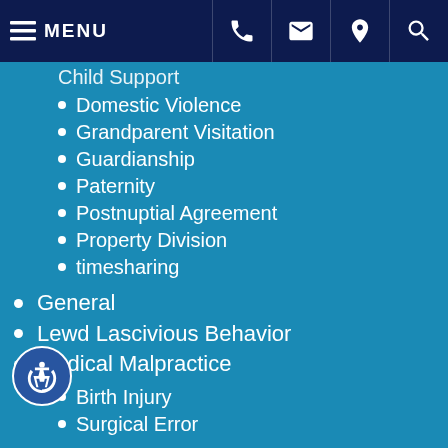MENU [navigation bar with phone, email, location, search icons]
Child Support (partial, cropped at top)
Domestic Violence
Grandparent Visitation
Guardianship
Paternity
Postnuptial Agreement
Property Division
timesharing
General
Lewd Lascivious Behavior
Medical Malpractice
Birth Injury
Surgical Error
Motorcycle Accidents
Personal Injury
accident
Dog Bites
Nursing Home Abuse
Pedestrian Accidents (partial, cropped at bottom)